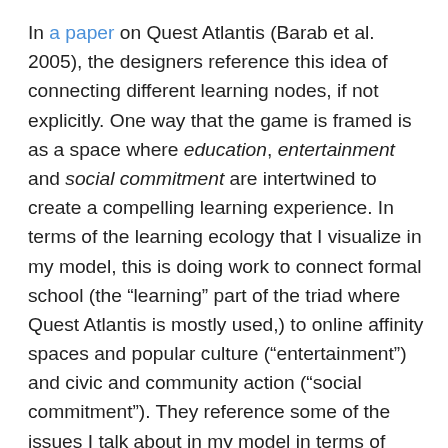In a paper on Quest Atlantis (Barab et al. 2005), the designers reference this idea of connecting different learning nodes, if not explicitly. One way that the game is framed is as a space where education, entertainment and social commitment are intertwined to create a compelling learning experience. In terms of the learning ecology that I visualize in my model, this is doing work to connect formal school (the “learning” part of the triad where Quest Atlantis is mostly used,) to online affinity spaces and popular culture (“entertainment”) and civic and community action (“social commitment”). They reference some of the issues I talk about in my model in terms of popular culture’s success in engaging young people but failure to effectively leverage this success for learning purposes (p. 90). They also claim that the game’s connections to real world issues “are frequently as motivating to children as are the